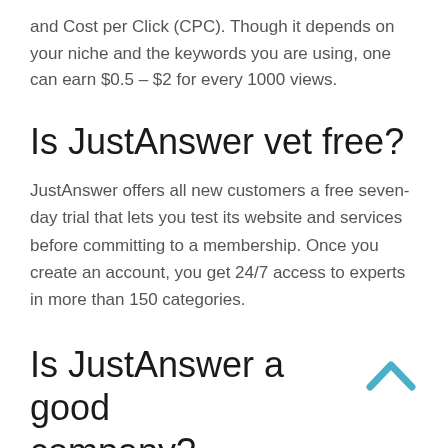and Cost per Click (CPC). Though it depends on your niche and the keywords you are using, one can earn $0.5 – $2 for every 1000 views.
Is JustAnswer vet free?
JustAnswer offers all new customers a free seven-day trial that lets you test its website and services before committing to a membership. Once you create an account, you get 24/7 access to experts in more than 150 categories.
Is JustAnswer a good company?